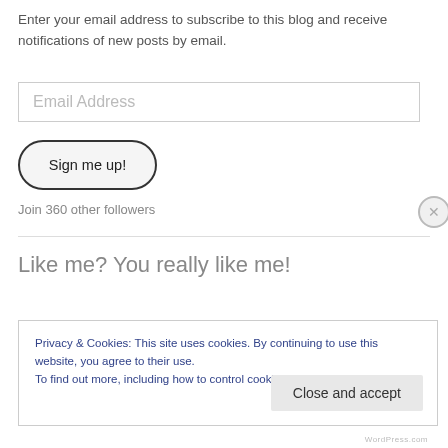Enter your email address to subscribe to this blog and receive notifications of new posts by email.
[Figure (other): Email Address input field with placeholder text]
[Figure (other): Sign me up! button with rounded border]
Join 360 other followers
Like me? You really like me!
Privacy & Cookies: This site uses cookies. By continuing to use this website, you agree to their use.
To find out more, including how to control cookies, see here: Cookie Policy
Close and accept
WordPress.com